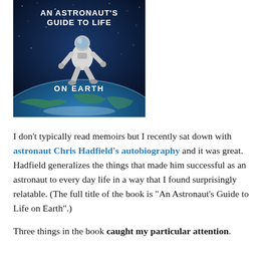[Figure (photo): Book cover of 'An Astronaut's Guide to Life on Earth' showing an astronaut floating in space above Earth, with text: AN ASTRONAUT'S GUIDE TO LIFE ON EARTH]
I don't typically read memoirs but I recently sat down with astronaut Chris Hadfield's autobiography and it was great. Hadfield generalizes the things that made him successful as an astronaut to every day life in a way that I found surprisingly relatable. (The full title of the book is "An Astronaut's Guide to Life on Earth".)
Three things in the book caught my particular attention.